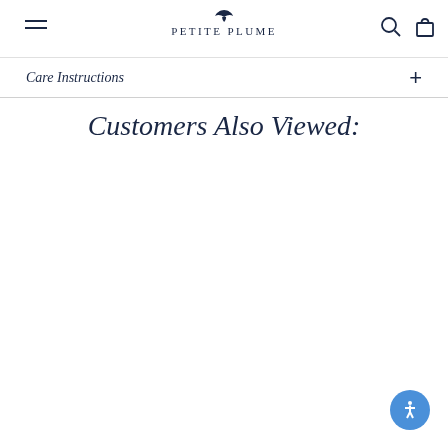PETITE PLUME
Care Instructions
Customers Also Viewed: